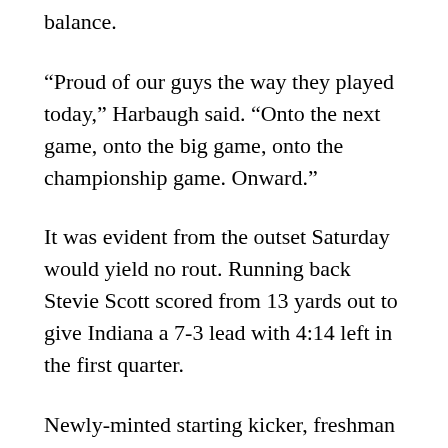balance.
“Proud of our guys the way they played today,” Harbaugh said. “Onto the next game, onto the big game, onto the championship game. Onward.”
It was evident from the outset Saturday would yield no rout. Running back Stevie Scott scored from 13 yards out to give Indiana a 7-3 lead with 4:14 left in the first quarter.
Newly-minted starting kicker, freshman Jake Moody, cut that lead to 7-6 on the next drive — but only after junior quarterback Shea Patterson and redshirt junior tight end Zach